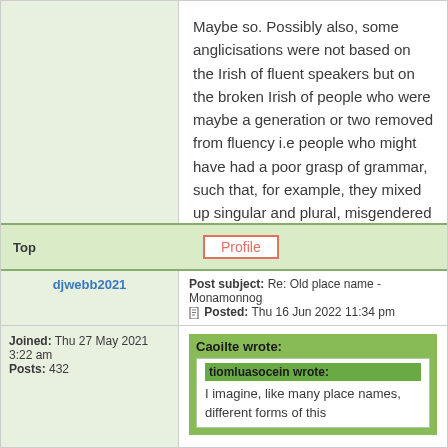Maybe so. Possibly also, some anglicisations were not based on the Irish of fluent speakers but on the broken Irish of people who were maybe a generation or two removed from fluency i.e people who might have had a poor grasp of grammar, such that, for example, they mixed up singular and plural, misgendered 😲 certain nouns, etc.
Top
Profile
djwebb2021
Post subject: Re: Old place name - Monamonnog
Posted: Thu 16 Jun 2022 11:34 pm
Joined: Thu 27 May 2021 3:22 am
Posts: 432
Caoilte wrote:
tiomluasocein wrote:
I imagine, like many place names, different forms of this